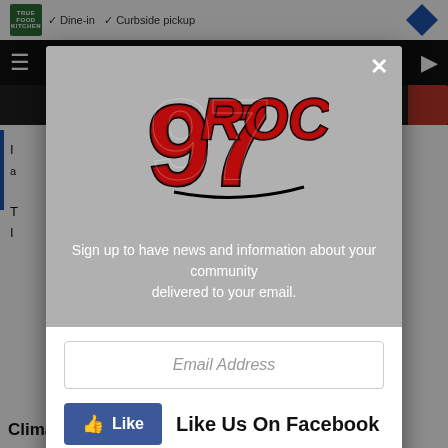[Figure (screenshot): Modal popup overlay on a website. Top gray section contains the 97Rock radio station logo (stylized red graffiti text) and text: 'Sign up to have news and information about your community delivered to your email.' Bottom white section has an Email Address input field, a Facebook Like button with 'Like Us On Facebook' text, and a True Food Kitchen advertisement banner showing 'Dine-in', 'Curbside pickup', 'Delivery' options with a navigation icon.]